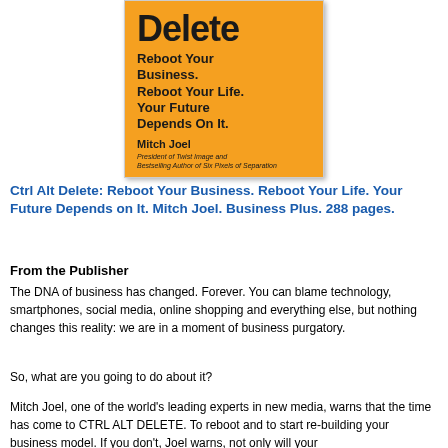[Figure (illustration): Book cover of 'Ctrl Alt Delete: Reboot Your Business. Reboot Your Life. Your Future Depends On It.' by Mitch Joel. Orange background with bold black text. Author listed as President of Twist Image and Bestselling Author of Six Pixels of Separation.]
Ctrl Alt Delete: Reboot Your Business. Reboot Your Life. Your Future Depends on It. Mitch Joel. Business Plus. 288 pages.
From the Publisher
The DNA of business has changed. Forever. You can blame technology, smartphones, social media, online shopping and everything else, but nothing changes this reality: we are in a moment of business purgatory.
So, what are you going to do about it?
Mitch Joel, one of the world's leading experts in new media, warns that the time has come to CTRL ALT DELETE. To reboot and to start re-building your business model. If you don't, Joel warns, not only will your